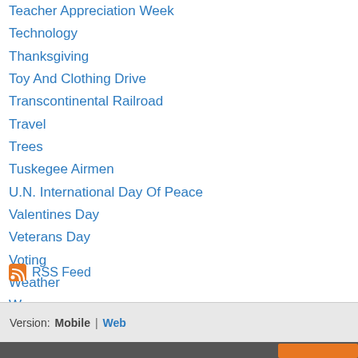Teacher Appreciation Week
Technology
Thanksgiving
Toy And Clothing Drive
Transcontinental Railroad
Travel
Trees
Tuskegee Airmen
U.N. International Day Of Peace
Valentines Day
Veterans Day
Voting
Weather
Women
Womens History Month
Womens History Month595d771694
RSS Feed
Version: Mobile | Web